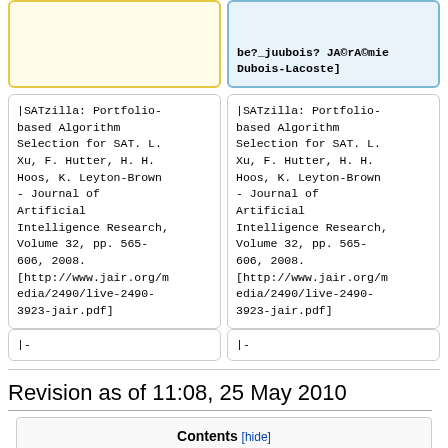[yellow cell, partial] (top-left, cut off at top)
be?_juubois? JA©rA©mie Dubois-Lacoste] (top-right, blue cell)
|SATzilla: Portfolio-based Algorithm Selection for SAT. L. Xu, F. Hutter, H. H. Hoos, K. Leyton-Brown - Journal of Artificial Intelligence Research, Volume 32, pp. 565-606, 2008. [http://www.jair.org/media/2490/live-2490-3923-jair.pdf]
|SATzilla: Portfolio-based Algorithm Selection for SAT. L. Xu, F. Hutter, H. H. Hoos, K. Leyton-Brown - Journal of Artificial Intelligence Research, Volume 32, pp. 565-606, 2008. [http://www.jair.org/media/2490/live-2490-3923-jair.pdf]
|-
|-
Revision as of 11:08, 25 May 2010
Contents [hide]